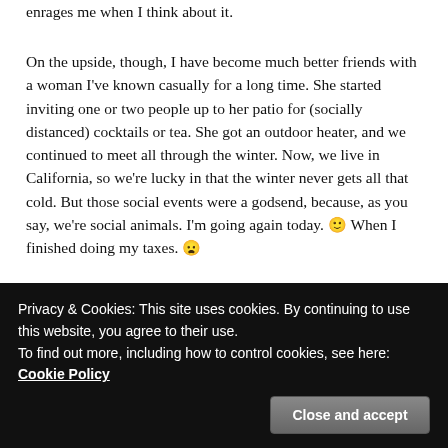enrages me when I think about it.
On the upside, though, I have become much better friends with a woman I've known casually for a long time. She started inviting one or two people up to her patio for (socially distanced) cocktails or tea. She got an outdoor heater, and we continued to meet all through the winter. Now, we live in California, so we're lucky in that the winter never gets all that cold. But those social events were a godsend, because, as you say, we're social animals. I'm going again today. 🙂 When I finished doing my taxes. 😦
Log in to Reply
Privacy & Cookies: This site uses cookies. By continuing to use this website, you agree to their use.
To find out more, including how to control cookies, see here: Cookie Policy
Close and accept
selfishness–it's not as bad as the authorities